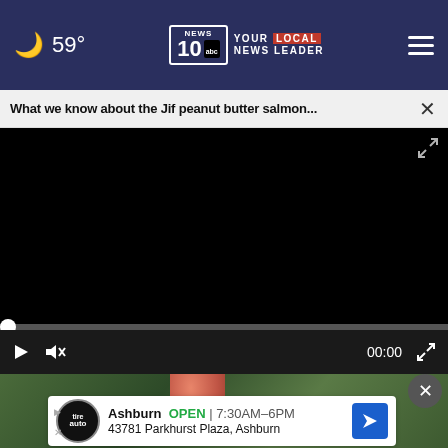59° — NEWS 10 YOUR LOCAL NEWS LEADER
What we know about the Jif peanut butter salmon... ×
[Figure (screenshot): Black video player area with progress bar at bottom showing 00:00 timestamp, play button, mute button, and fullscreen icon]
[Figure (photo): Article image showing a peanut butter jar against green leafy background]
Ashburn OPEN | 7:30AM–6PM
43781 Parkhurst Plaza, Ashburn